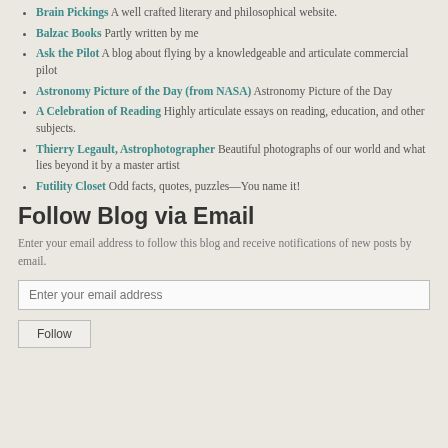Brain Pickings A well crafted literary and philosophical website.
Balzac Books Partly written by me
Ask the Pilot A blog about flying by a knowledgeable and articulate commercial pilot
Astronomy Picture of the Day (from NASA) Astronomy Picture of the Day
A Celebration of Reading Highly articulate essays on reading, education, and other subjects.
Thierry Legault, Astrophotographer Beautiful photographs of our world and what lies beyond it by a master artist
Futility Closet Odd facts, quotes, puzzles—You name it!
Follow Blog via Email
Enter your email address to follow this blog and receive notifications of new posts by email.